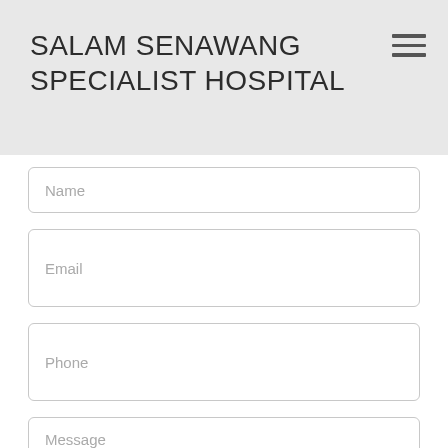SALAM SENAWANG SPECIALIST HOSPITAL
Name
Email
Phone
Message
Call Us Now